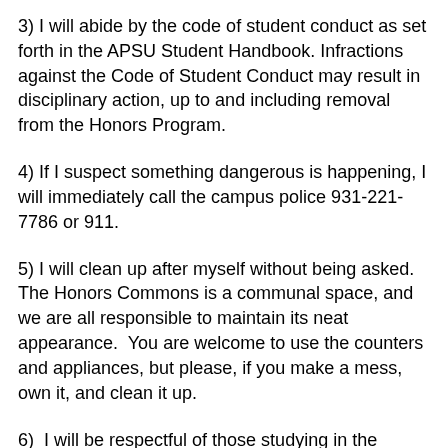3) I will abide by the code of student conduct as set forth in the APSU Student Handbook. Infractions against the Code of Student Conduct may result in disciplinary action, up to and including removal from the Honors Program.
4) If I suspect something dangerous is happening, I will immediately call the campus police 931-221-7786 or 911.
5) I will clean up after myself without being asked.  The Honors Commons is a communal space, and we are all responsible to maintain its neat appearance.  You are welcome to use the counters and appliances, but please, if you make a mess, own it, and clean it up.
6)  I will be respectful of those studying in the Honors Commons.  The lounge/dining area is certainly meant to be enjoyed, but not at the expense of those attempting to study.